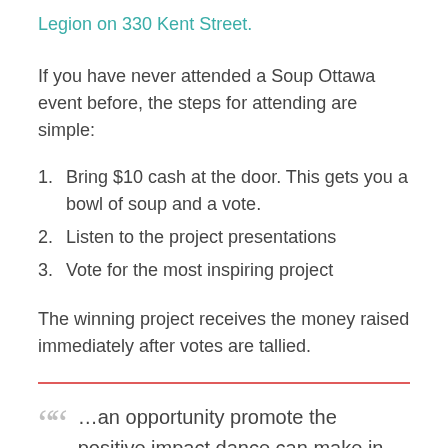Legion on 330 Kent Street.
If you have never attended a Soup Ottawa event before, the steps for attending are simple:
Bring $10 cash at the door. This gets you a bowl of soup and a vote.
Listen to the project presentations
Vote for the most inspiring project
The winning project receives the money raised immediately after votes are tallied.
…an opportunity promote the positive impact dance can make in people’s lives in a battle